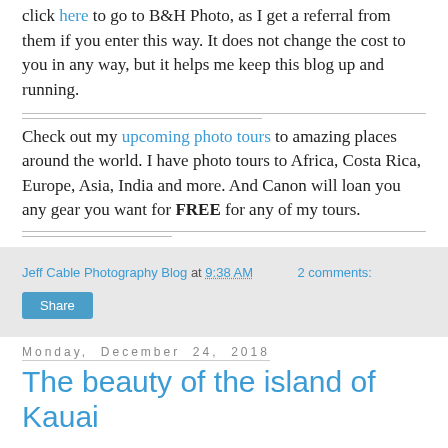click here to go to B&H Photo, as I get a referral from them if you enter this way. It does not change the cost to you in any way, but it helps me keep this blog up and running.
Check out my upcoming photo tours to amazing places around the world. I have photo tours to Africa, Costa Rica, Europe, Asia, India and more. And Canon will loan you any gear you want for FREE for any of my tours.
Jeff Cable Photography Blog at 9:38 AM   2 comments:
Share
Monday, December 24, 2018
The beauty of the island of Kauai
After photographing the wedding on Maui, my wife and I flew to the island of Kauai for a much needed 4 days of vacation